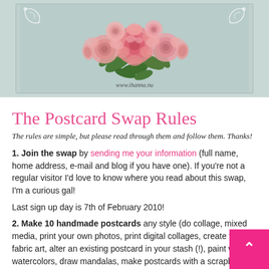[Figure (illustration): Vintage postcard image with pink roses and green leaves arrangement on a light teal/grey background, with decorative white scroll corner ornaments. Website watermark 'www.ihanna.nu' at the bottom.]
The Postcard Swap Rules
The rules are simple, but please read through them and follow them. Thanks!
1. Join the swap by sending me your information (full name, home address, e-mail and blog if you have one). If you're not a regular visitor I'd love to know where you read about this swap, I'm a curious gal!
Last sign up day is 7th of February 2010!
2. Make 10 handmade postcards any style (do collage, mixed media, print your own photos, print digital collages, create flat fabric art, alter an existing postcard in your stash (!), paint with watercolors, draw mandalas, make postcards with a scrapbook style, embellished, painted,